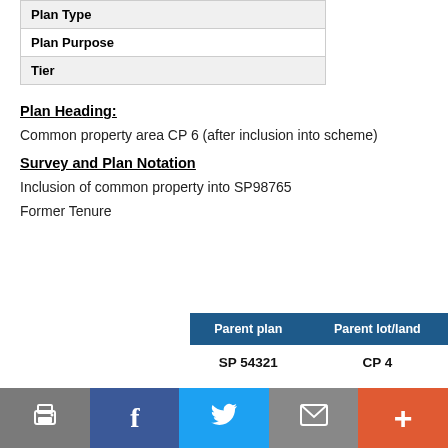| Plan Type |
| Plan Purpose |
| Tier |
Plan Heading:
Common property area CP 6 (after inclusion into scheme)
Survey and Plan Notation
Inclusion of common property into SP98765
Former Tenure
| Parent plan | Parent lot/land |
| --- | --- |
| SP 54321 | CP 4 |
Print | Facebook | Twitter | Email | More